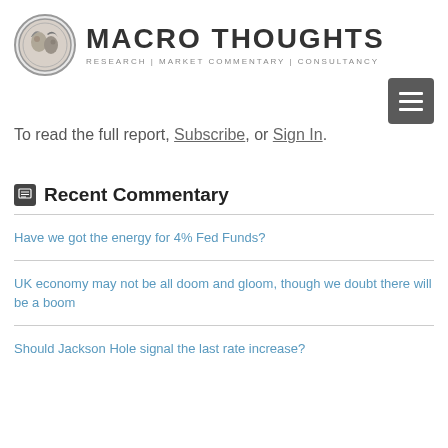[Figure (logo): Macro Thoughts logo with ancient coin image and text 'MACRO THOUGHTS' and subtitle 'RESEARCH | MARKET COMMENTARY | CONSULTANCY']
[Figure (other): Hamburger menu button (three horizontal bars) on grey square background, top-right area]
To read the full report, Subscribe, or Sign In.
Recent Commentary
Have we got the energy for 4% Fed Funds?
UK economy may not be all doom and gloom, though we doubt there will be a boom
Should Jackson Hole signal the last rate increase?